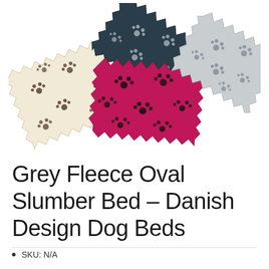[Figure (photo): Four fabric swatches with paw print patterns arranged in a fan/overlapping layout. From left to right: cream/beige swatch with brown paw prints, dark navy/teal swatch with grey paw prints (top), hot pink/magenta swatch with black paw prints, and light grey swatch with grey paw prints. Swatches have zigzag/pinked edges.]
Grey Fleece Oval Slumber Bed – Danish Design Dog Beds
SKU: N/A